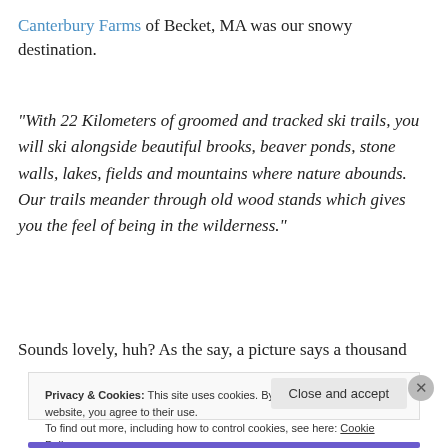Canterbury Farms of Becket, MA was our snowy destination.
“With 22 Kilometers of groomed and tracked ski trails, you will ski alongside beautiful brooks, beaver ponds, stone walls, lakes, fields and mountains where nature abounds. Our trails meander through old wood stands which gives you the feel of being in the wilderness.”
Sounds lovely, huh? As the say, a picture says a thousand
Privacy & Cookies: This site uses cookies. By continuing to use this website, you agree to their use.
To find out more, including how to control cookies, see here: Cookie Policy
Close and accept